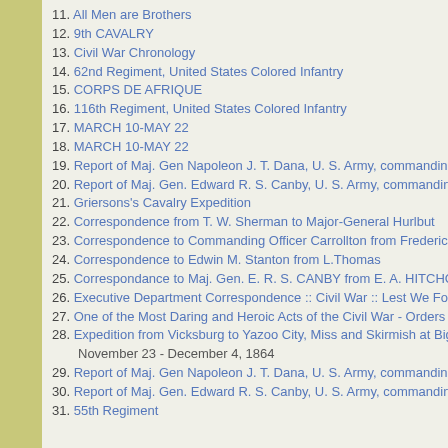11. All Men are Brothers
12. 9th CAVALRY
13. Civil War Chronology
14. 62nd Regiment, United States Colored Infantry
15. CORPS DE AFRIQUE
16. 116th Regiment, United States Colored Infantry
17. MARCH 10-MAY 22
18. MARCH 10-MAY 22
19. Report of Maj. Gen Napoleon J. T. Dana, U. S. Army, commanding Distric
20. Report of Maj. Gen. Edward R. S. Canby, U. S. Army, commanding Milita
21. Griersons's Cavalry Expedition
22. Correspondence from T. W. Sherman to Major-General Hurlbut
23. Correspondence to Commanding Officer Carrollton from Frederic Speed
24. Correspondence to Edwin M. Stanton from L.Thomas
25. Correspondance to Maj. Gen. E. R. S. CANBY from E. A. HITCHCOCK
26. Executive Department Correspondence :: Civil War :: Lest We Forget
27. One of the Most Daring and Heroic Acts of the Civil War - Orders No.81
28. Expedition from Vicksburg to Yazoo City, Miss and Skirmish at Big Black River November 23 - December 4, 1864
29. Report of Maj. Gen Napoleon J. T. Dana, U. S. Army, commanding Distric
30. Report of Maj. Gen. Edward R. S. Canby, U. S. Army, commanding Milita
31. 55th Regiment